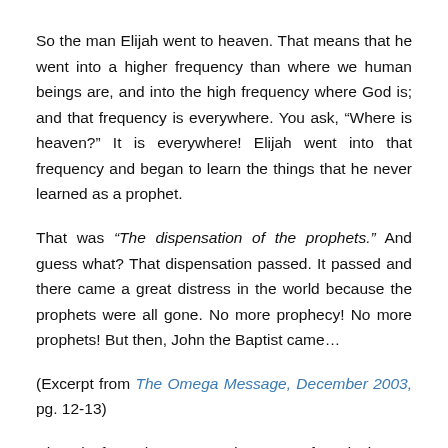So the man Elijah went to heaven. That means that he went into a higher frequency than where we human beings are, and into the high frequency where God is; and that frequency is everywhere. You ask, “Where is heaven?” It is everywhere! Elijah went into that frequency and began to learn the things that he never learned as a prophet.
That was “The dispensation of the prophets.” And guess what? That dispensation passed. It passed and there came a great distress in the world because the prophets were all gone. No more prophecy! No more prophets! But then, John the Baptist came…
(Excerpt from The Omega Message, December 2003, pg. 12-13)
Thought for today: Men and women of God, rise up and